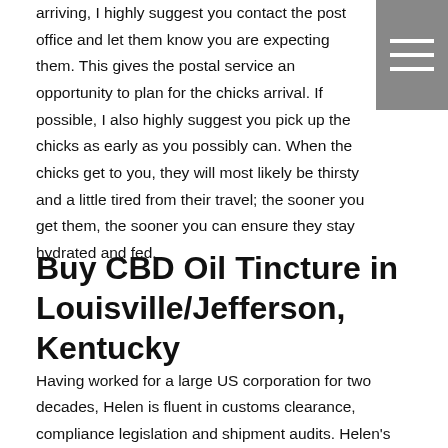arriving, I highly suggest you contact the post office and let them know you are expecting them. This gives the postal service an opportunity to plan for the chicks arrival. If possible, I also highly suggest you pick up the chicks as early as you possibly can. When the chicks get to you, they will most likely be thirsty and a little tired from their travel; the sooner you get them, the sooner you can ensure they stay hydrated and fed.
Buy CBD Oil Tincture in Louisville/Jefferson, Kentucky
Having worked for a large US corporation for two decades, Helen is fluent in customs clearance, compliance legislation and shipment audits. Helen's used to working closely with Border forces, security personnel and customs officers. Incorrect paperwork, even a seemingly minor detail, can cause severe delays Hemp Gummies Vs CBD Gummies: What'S The Difference? to your shipment. Worse still, this could lead to you